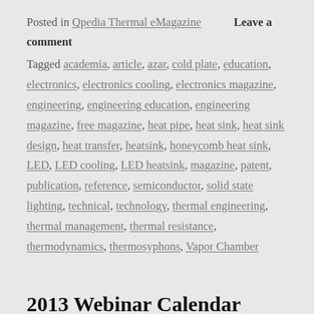Posted in Qpedia Thermal eMagazine    Leave a comment
Tagged academia, article, azar, cold plate, education, electronics, electronics cooling, electronics magazine, engineering, engineering education, engineering magazine, free magazine, heat pipe, heat sink, heat sink design, heat transfer, heatsink, honeycomb heat sink, LED, LED cooling, LED heatsink, magazine, patent, publication, reference, semiconductor, solid state lighting, technical, technology, thermal engineering, thermal management, thermal resistance, thermodynamics, thermosyphons, Vapor Chamber
2013 Webinar Calendar Released
Posted on January 7, 2013 by akoss | Leave a comment